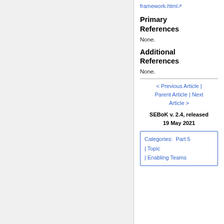framework.html
Primary References
None.
Additional References
None.
< Previous Article | Parent Article | Next Article >
SEBoK v. 2.4, released 19 May 2021
Categories:  Part 5 | Topic | Enabling Teams